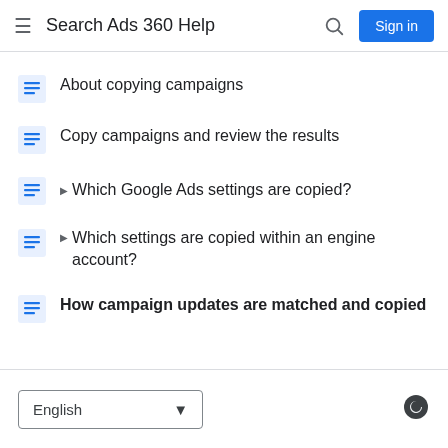Search Ads 360 Help
About copying campaigns
Copy campaigns and review the results
Which Google Ads settings are copied?
Which settings are copied within an engine account?
How campaign updates are matched and copied
English